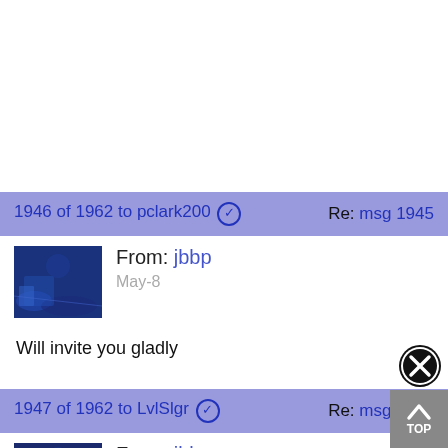1946 of 1962 to pclark200 ✔   Re: msg 1945
From: jbbp
May-8
Will invite you gladly
1947 of 1962 to LvlSlgr ✔   Re: msg 1944
From: jbbp